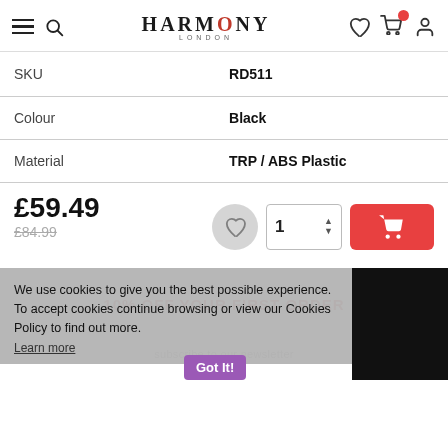HARMONY LONDON — navigation header with hamburger, search, wishlist, cart, account icons
|  |  |
| --- | --- |
| SKU | RD511 |
| Colour | Black |
| Material | TRP / ABS Plastic |
£59.49
£84.99
We use cookies to give you the best possible experience. To accept cookies continue browsing or view our Cookies Policy to find out more.
Learn more
10% OFF YOUR FIRST ORDER
Flexible payments and Express checkout available
[Figure (logo): Payment methods: PayPal, Google Pay, Klarna on purple background with Got It! button]